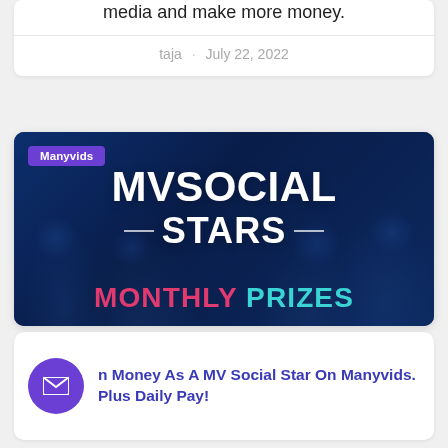media and make more money.
taja · July 22, 2022
[Figure (photo): MV Social Stars Monthly Prizes promotional banner with dark blue background, people silhouettes, white bold text 'MVSOCIAL STARS' and colorful 'MONTHLY PRIZES' text, with a 'Manyvids' purple tag]
n Money As A MV Social Star On Manyvids. Plus Daily Pay!